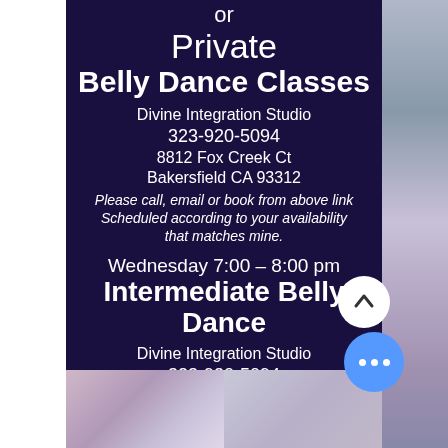or
Private
Belly Dance Classes
Divine Integration Studio
323-920-5094
8812 Fox Creek Ct
Bakersfield CA 93312
Please call, email or book from above link
Scheduled according to your availability that matches mine.
Wednesday 7:00 - 8:00 pm
Intermediate Belly Dance
Divine Integration Studio
323-920-5094
8812 Fox Creek Ct
Bakersfield CA 93312
Please call, email or book from above link
Space is limited and experienced dancers only for this class